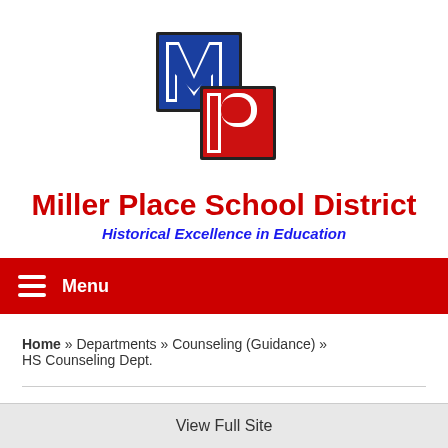[Figure (logo): Miller Place School District logo showing interlocked MP letters in blue and red block style]
Miller Place School District
Historical Excellence in Education
Menu
Home » Departments » Counseling (Guidance) » HS Counseling Dept.
View Full Site